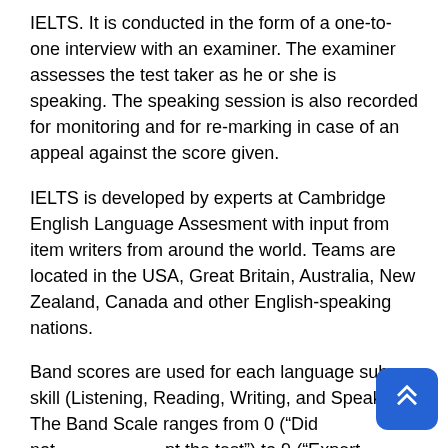IELTS. It is conducted in the form of a one-to-one interview with an examiner. The examiner assesses the test taker as he or she is speaking. The speaking session is also recorded for monitoring and for re-marking in case of an appeal against the score given.
IELTS is developed by experts at Cambridge English Language Assesment with input from item writers from around the world. Teams are located in the USA, Great Britain, Australia, New Zealand, Canada and other English-speaking nations.
Band scores are used for each language sub-skill (Listening, Reading, Writing, and Speaking). The Band Scale ranges from 0 (“Did not attempt the test”) to 9 (“Expert User”).